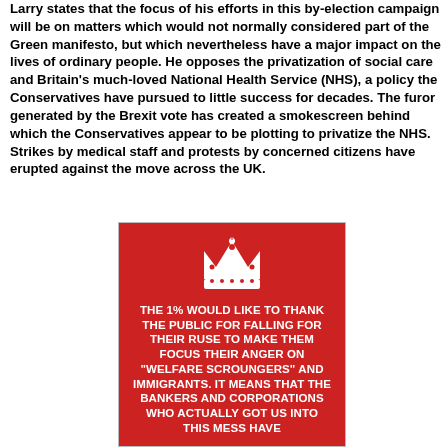Larry states that the focus of his efforts in this by-election campaign will be on matters which would not normally considered part of the Green manifesto, but which nevertheless have a major impact on the lives of ordinary people. He opposes the privatization of social care and Britain's much-loved National Health Service (NHS), a policy the Conservatives have pursued to little success for decades. The furor generated by the Brexit vote has created a smokescreen behind which the Conservatives appear to be plotting to privatize the NHS. Strikes by medical staff and protests by concerned citizens have erupted against the move across the UK.
[Figure (other): Red 'Keep Calm' style meme poster with white crown icon and bold white text: 'THE 1% WOULD LIKE TO THANK THE PUBLIC FOR FALLING FOR THEIR RUSE TO MAKE THEM FOCUS THEIR ANGER ON "WELFARE SCROUNGERS" AND IMMIGRANTS. IT MEANS THAT THE BANKERS AND CORPORATIONS WHO ACTUALLY GOT US INTO THIS MESS HAVE']